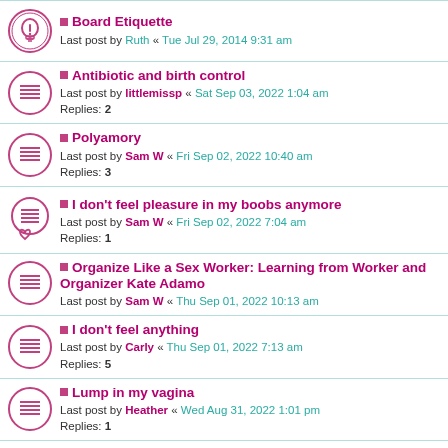Board Etiquette — Last post by Ruth « Tue Jul 29, 2014 9:31 am
Antibiotic and birth control — Last post by littlemissp « Sat Sep 03, 2022 1:04 am — Replies: 2
Polyamory — Last post by Sam W « Fri Sep 02, 2022 10:40 am — Replies: 3
I don't feel pleasure in my boobs anymore — Last post by Sam W « Fri Sep 02, 2022 7:04 am — Replies: 1
Organize Like a Sex Worker: Learning from Worker and Organizer Kate Adamo — Last post by Sam W « Thu Sep 01, 2022 10:13 am
I don't feel anything — Last post by Carly « Thu Sep 01, 2022 7:13 am — Replies: 5
Lump in my vagina — Last post by Heather « Wed Aug 31, 2022 1:01 pm — Replies: 1
Hi, Sam — Last post by Sam W « Tue...